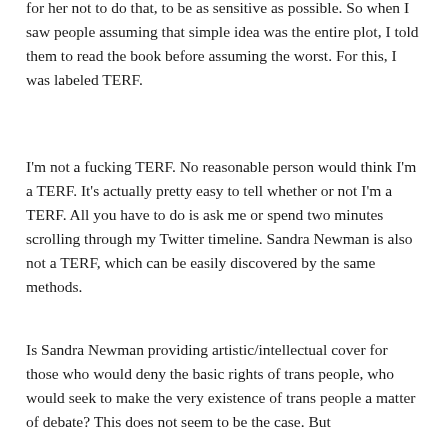for her not to do that, to be as sensitive as possible. So when I saw people assuming that simple idea was the entire plot, I told them to read the book before assuming the worst. For this, I was labeled TERF.
I'm not a fucking TERF. No reasonable person would think I'm a TERF. It's actually pretty easy to tell whether or not I'm a TERF. All you have to do is ask me or spend two minutes scrolling through my Twitter timeline. Sandra Newman is also not a TERF, which can be easily discovered by the same methods.
Is Sandra Newman providing artistic/intellectual cover for those who would deny the basic rights of trans people, who would seek to make the very existence of trans people a matter of debate? This does not seem to be the case. But